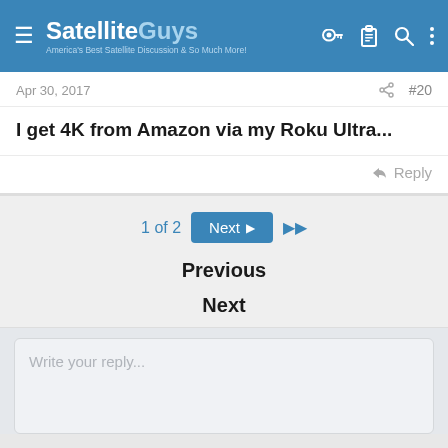SatelliteGuys — America's Best Satellite Discussion & So Much More!
Apr 30, 2017   #20
I get 4K from Amazon via my Roku Ultra...
Reply
1 of 2  Next  ▶▶
Previous
Next
Write your reply...